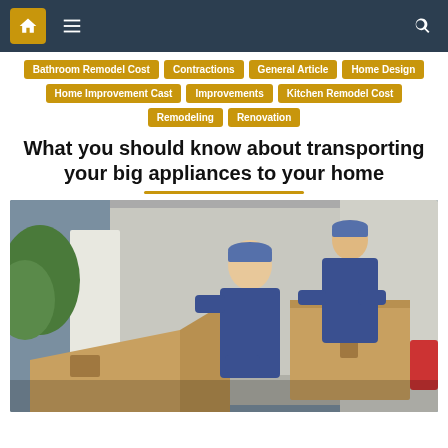Navigation bar with home, menu, and search icons
Bathroom Remodel Cost
Contractions
General Article
Home Design
Home Improvement Cast
Improvements
Kitchen Remodel Cost
Remodeling
Renovation
What you should know about transporting your big appliances to your home
[Figure (photo): Two movers in blue uniforms and caps unloading cardboard boxes from the back of a white delivery van]